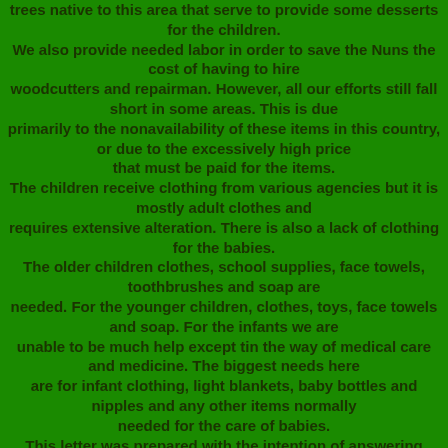trees native to this area that serve to provide some desserts for the children. We also provide needed labor in order to save the Nuns the cost of having to hire woodcutters and repairman. However, all our efforts still fall short in some areas. This is due primarily to the nonavailability of these items in this country, or due to the excessively high price that must be paid for the items. The children receive clothing from various agencies but it is mostly adult clothes and requires extensive alteration. There is also a lack of clothing for the babies. The older children clothes, school supplies, face towels, toothbrushes and soap are needed. For the younger children, clothes, toys, face towels and soap. For the infants we are unable to be much help except tin the way of medical care and medicine. The biggest needs here are for infant clothing, light blankets, baby bottles and nipples and any other items normally needed for the care of babies. This letter was prepared with the intention of answering questions asked of us concerning the orphanage and not for the purpose of soliciting help. However, should anyone read it have a